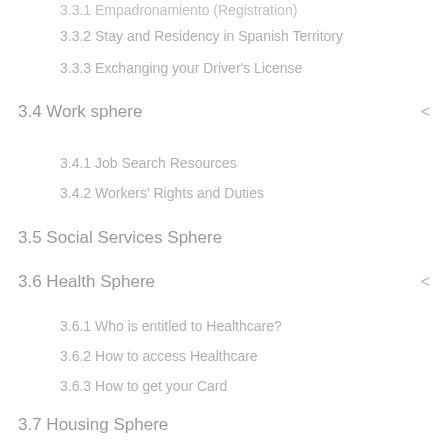3.3.2 Stay and Residency in Spanish Territory
3.3.3 Exchanging your Driver's License
3.4 Work sphere
3.4.1 Job Search Resources
3.4.2 Workers' Rights and Duties
3.5 Social Services Sphere
3.6 Health Sphere
3.6.1 Who is entitled to Healthcare?
3.6.2 How to access Healthcare
3.6.3 How to get your Card
3.7 Housing Sphere
3.8 Education Sphere
3.8.1 How is the Spanish Education System